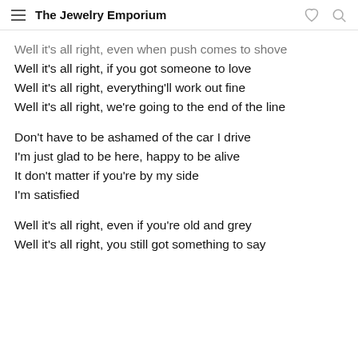The Jewelry Emporium
Well it's all right, even when push comes to shove
Well it's all right, if you got someone to love
Well it's all right, everything'll work out fine
Well it's all right, we're going to the end of the line
Don't have to be ashamed of the car I drive
I'm just glad to be here, happy to be alive
It don't matter if you're by my side
I'm satisfied
Well it's all right, even if you're old and grey
Well it's all right, you still got something to say